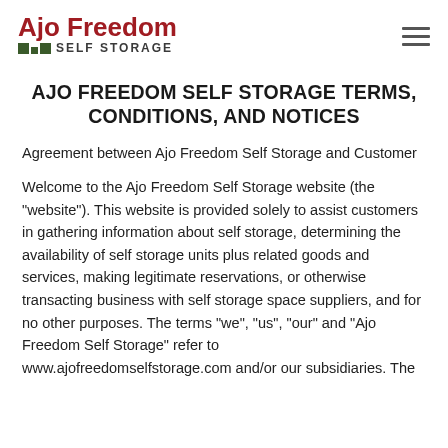Ajo Freedom Self Storage
AJO FREEDOM SELF STORAGE TERMS, CONDITIONS, AND NOTICES
Agreement between Ajo Freedom Self Storage and Customer
Welcome to the Ajo Freedom Self Storage website (the "website"). This website is provided solely to assist customers in gathering information about self storage, determining the availability of self storage units plus related goods and services, making legitimate reservations, or otherwise transacting business with self storage space suppliers, and for no other purposes. The terms "we", "us", "our" and "Ajo Freedom Self Storage" refer to www.ajofreedomselfstorage.com and/or our subsidiaries. The